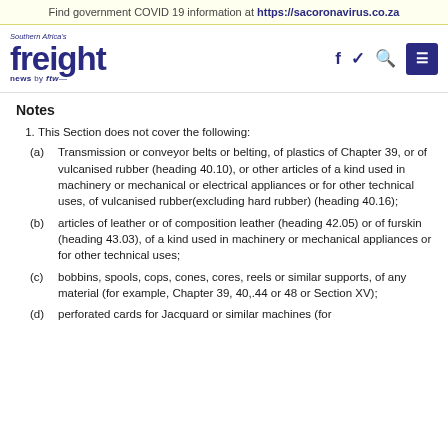Find government COVID 19 information at https://sacoronavirus.co.za
[Figure (logo): Southern Africa's freight news by ftw logo with navigation icons (f, bird/twitter, magnifier, hamburger menu)]
Notes
1. This Section does not cover the following:
(a) Transmission or conveyor belts or belting, of plastics of Chapter 39, or of vulcanised rubber (heading 40.10), or other articles of a kind used in machinery or mechanical or electrical appliances or for other technical uses, of vulcanised rubber(excluding hard rubber) (heading 40.16);
(b) articles of leather or of composition leather (heading 42.05) or of furskin (heading 43.03), of a kind used in machinery or mechanical appliances or for other technical uses;
(c) bobbins, spools, cops, cones, cores, reels or similar supports, of any material (for example, Chapter 39, 40,.44 or 48 or Section XV);
(d) perforated cards for Jacquard or similar machines (for